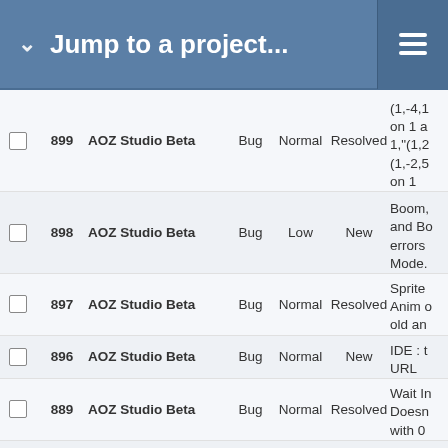Jump to a project...
|  | # | Project | Type | Priority | Status | Subject |
| --- | --- | --- | --- | --- | --- | --- |
|  | 899 | AOZ Studio Beta | Bug | Normal | Resolved | (1,-4,1 on 1 a 1,"(1,2 (1,-2,5 on 1 |
|  | 898 | AOZ Studio Beta | Bug | Low | New | Boom, and Bo errors Mode. |
|  | 897 | AOZ Studio Beta | Bug | Normal | Resolved | Sprite Anim o old an |
|  | 896 | AOZ Studio Beta | Bug | Normal | New | IDE : t URL |
|  | 889 | AOZ Studio Beta | Bug | Normal | Resolved | Wait In Doesn with 0 |
|  | 887 | AOZ Studio Beta | Bug | Normal | Resolved | Bob/S not wo |
|  | 884 | AOZ Studio Beta | Bug | Normal | New | Piskel editor dark g |